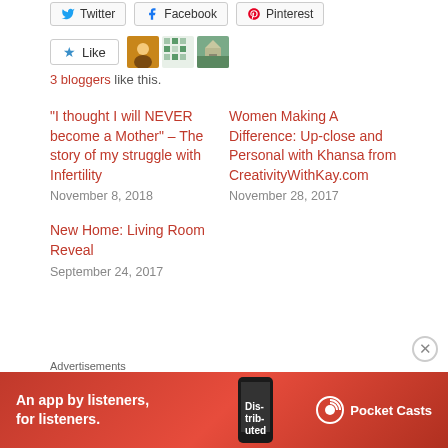[Figure (screenshot): Social share buttons: Twitter, Facebook, Pinterest]
[Figure (screenshot): Like button with star icon and three blogger avatars]
3 bloggers like this.
“I thought I will NEVER become a Mother” – The story of my struggle with Infertility
November 8, 2018
Women Making A Difference: Up-close and Personal with Khansa from CreativityWithKay.com
November 28, 2017
New Home: Living Room Reveal
September 24, 2017
Advertisements
[Figure (screenshot): Pocket Casts advertisement banner: red background with phone image, text 'An app by listeners, for listeners.' and Pocket Casts logo]